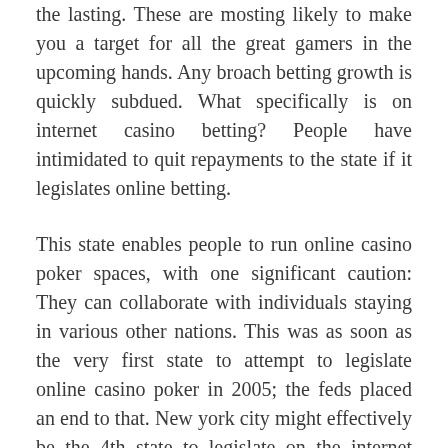the lasting. These are mosting likely to make you a target for all the great gamers in the upcoming hands. Any broach betting growth is quickly subdued. What specifically is on internet casino betting? People have intimidated to quit repayments to the state if it legislates online betting.
This state enables people to run online casino poker spaces, with one significant caution: They can collaborate with individuals staying in various other nations. This was as soon as the very first state to attempt to legislate online casino poker in 2005; the feds placed an end to that. New york city might effectively be the 4th state to legislate on the internet casino poker in 2014. It has the assistance of the guv, along with several legislators. Various casinos might have various